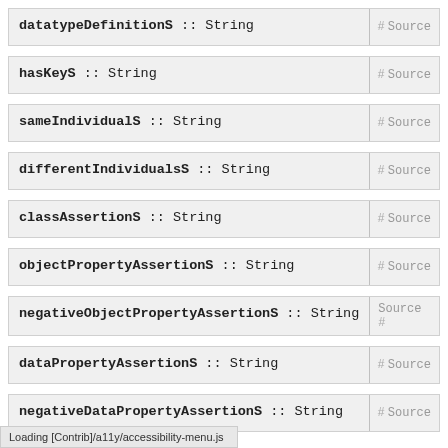datatypeDefinitionS :: String # Source
hasKeyS :: String # Source
sameIndividualS :: String # Source
differentIndividualsS :: String # Source
classAssertionS :: String # Source
objectPropertyAssertionS :: String # Source
negativeObjectPropertyAssertionS :: String # Source
dataPropertyAssertionS :: String # Source
negativeDataPropertyAssertionS :: String # Source
Loading [Contrib]/a11y/accessibility-menu.js